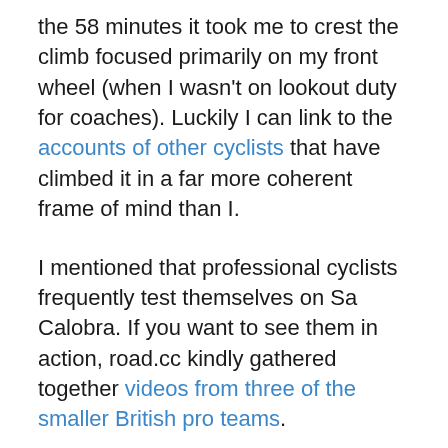the 58 minutes it took me to crest the climb focused primarily on my front wheel (when I wasn't on lookout duty for coaches). Luckily I can link to the accounts of other cyclists that have climbed it in a far more coherent frame of mind than I.
I mentioned that professional cyclists frequently test themselves on Sa Calobra. If you want to see them in action, road.cc kindly gathered together videos from three of the smaller British pro teams.
Strava classifies Sa Calobra as a Category 1 climb. Montgomery classifies it as 'awesome'.